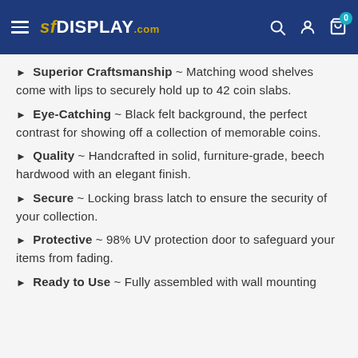SFDisplay.com
Superior Craftsmanship ~ Matching wood shelves come with lips to securely hold up to 42 coin slabs.
Eye-Catching ~ Black felt background, the perfect contrast for showing off a collection of memorable coins.
Quality ~ Handcrafted in solid, furniture-grade, beech hardwood with an elegant finish.
Secure ~ Locking brass latch to ensure the security of your collection.
Protective ~ 98% UV protection door to safeguard your items from fading.
Ready to Use ~ Fully assembled with wall mounting